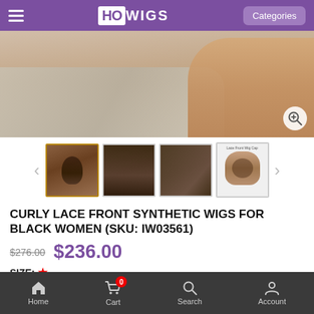HOWIGS — Categories
[Figure (photo): Main product photo showing the back/shoulder of a person wearing a curly afro wig, with a zoom icon in the bottom right corner.]
[Figure (photo): Row of four product thumbnail images: front view of model with curly afro wig (selected/active), back view of the wig, side/angled view of the wig, and a wig cap diagram labeled 'Lace Front Wig Cap'. Navigation arrows on left and right.]
CURLY LACE FRONT SYNTHETIC WIGS FOR BLACK WOMEN (SKU: IW03561)
$276.00  $236.00
SIZE: *
Average(A)
COLOUR: *
Home  Cart (0)  Search  Account